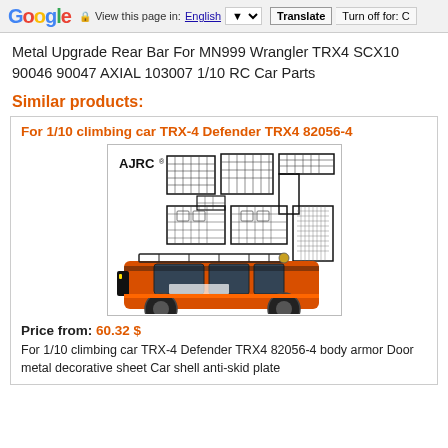Google | View this page in: English | Translate | Turn off for: C
Metal Upgrade Rear Bar For MN999 Wrangler TRX4 SCX10 90046 90047 AXIAL 103007 1/10 RC Car Parts
Similar products:
For 1/10 climbing car TRX-4 Defender TRX4 82056-4
[Figure (photo): Product photo showing metal body armor parts (grid pattern metal sheets) and an orange RC crawler car (TRX-4 Defender style) with roof rack, branded AJRC]
Price from: 60.32 $
For 1/10 climbing car TRX-4 Defender TRX4 82056-4 body armor Door metal decorative sheet Car shell anti-skid plate